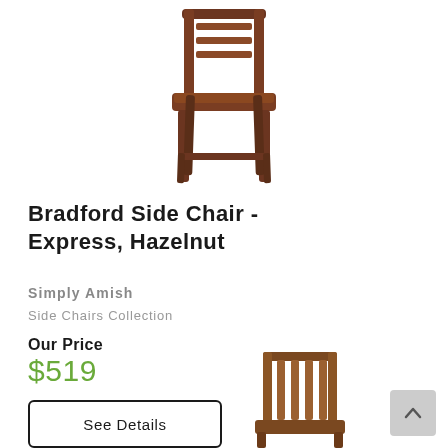[Figure (photo): Wooden Bradford side chair in hazelnut finish, viewed from front-side angle, showing slatted back and solid seat]
Bradford Side Chair - Express, Hazelnut
Simply Amish
Side Chairs Collection
Our Price
$519
See Details
[Figure (photo): Second wooden side chair in medium brown finish, viewed from front showing vertical slat back]
[Figure (other): Scroll to top button with upward arrow]